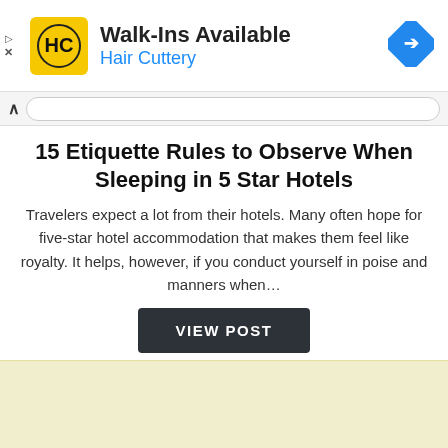[Figure (screenshot): Advertisement banner for Hair Cuttery showing logo, 'Walk-Ins Available' text, 'Hair Cuttery' subtitle in blue, and a blue diamond navigation arrow icon on the right.]
15 Etiquette Rules to Observe When Sleeping in 5 Star Hotels
Travelers expect a lot from their hotels. Many often hope for five-star hotel accommodation that makes them feel like royalty. It helps, however, if you conduct yourself in poise and manners when…
[Figure (screenshot): Dark grey 'VIEW POST' button]
[Figure (screenshot): Light yellow advertisement placeholder block at the bottom of the page]